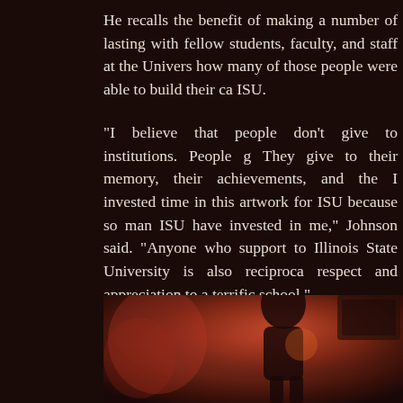He recalls the benefit of making a number of lasting with fellow students, faculty, and staff at the Univers how many of those people were able to build their ca ISU.
"I believe that people don't give to institutions. People g They give to their memory, their achievements, and the I invested time in this artwork for ISU because so man ISU have invested in me," Johnson said. "Anyone who support to Illinois State University is also reciproca respect and appreciation to a terrific school."
http://studentaffairs.illinoisstate.edu/red/spotlight/johns
[Figure (photo): Photograph showing a person performing music, with warm reddish-brown tones in the background. The image is partially cropped showing the lower portion of the scene.]